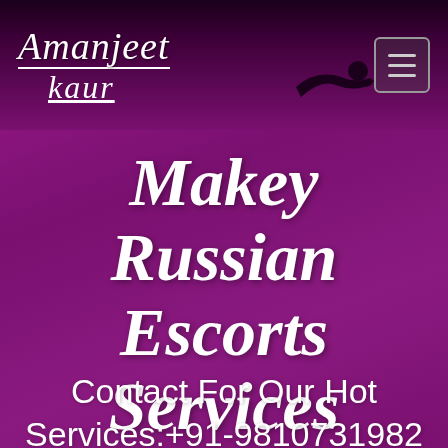Amanjeet kaur
Makey Russian Escorts Services
Contact For Our Hot Services:+91-9810731982